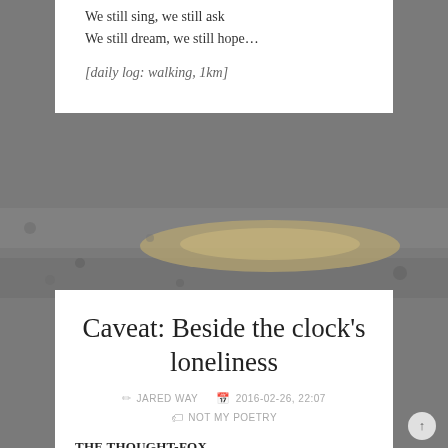We still sing, we still ask
We still dream, we still hope...
[daily log: walking, 1km]
[Figure (photo): Rocky gravel path with a water puddle or wet reflective surface visible in the middle distance]
Caveat: Beside the clock’s loneliness
JARED WAY   2016-02-26, 22:07
NOT MY POETRY
THE THOUGHT-FOX
I imagine this midnight moment’s forest:
Something else is alive